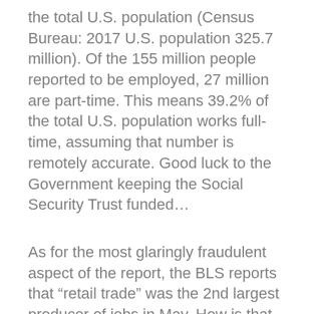the total U.S. population (Census Bureau: 2017 U.S. population 325.7 million). Of the 155 million people reported to be employed, 27 million are part-time. This means 39.2% of the total U.S. population works full-time, assuming that number is remotely accurate. Good luck to the Government keeping the Social Security Trust funded…
As for the most glaringly fraudulent aspect of the report, the BLS reports that “retail trade” was the 2nd largest producer of jobs in May. How is that heavenly possible? Retail sales are sagging and serial bankruptcies in brick/mortar retailing are dumping retail labor onto the market. There are other glaring inconsistencies with economic reality on Main Street. One number, however, that might